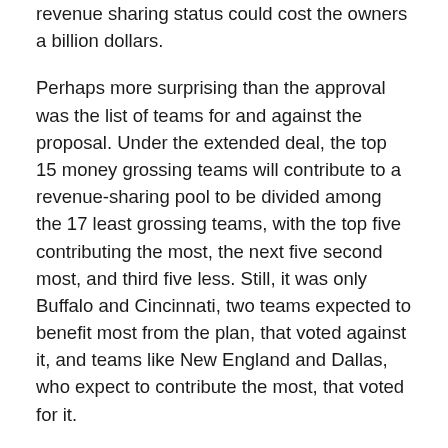revenue sharing status could cost the owners a billion dollars.
Perhaps more surprising than the approval was the list of teams for and against the proposal. Under the extended deal, the top 15 money grossing teams will contribute to a revenue-sharing pool to be divided among the 17 least grossing teams, with the top five contributing the most, the next five second most, and third five less. Still, it was only Buffalo and Cincinnati, two teams expected to benefit most from the plan, that voted against it, and teams like New England and Dallas, who expect to contribute the most, that voted for it.
The league already shares television revenue. The new deal forces the sharing of revenue made beyond the TV deals and was the major cog the players fought